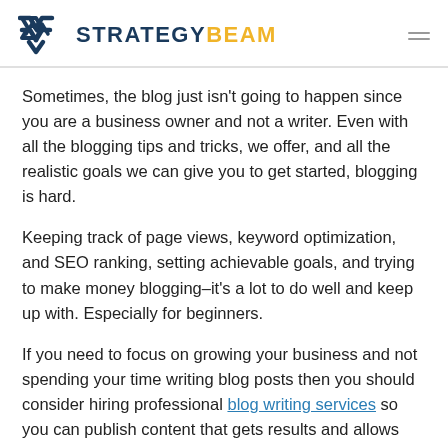STRATEGYBEAM
Sometimes, the blog just isn't going to happen since you are a business owner and not a writer. Even with all the blogging tips and tricks, we offer, and all the realistic goals we can give you to get started, blogging is hard.
Keeping track of page views, keyword optimization, and SEO ranking, setting achievable goals, and trying to make money blogging–it's a lot to do well and keep up with. Especially for beginners.
If you need to focus on growing your business and not spending your time writing blog posts then you should consider hiring professional blog writing services so you can publish content that gets results and allows you to focus on your business.